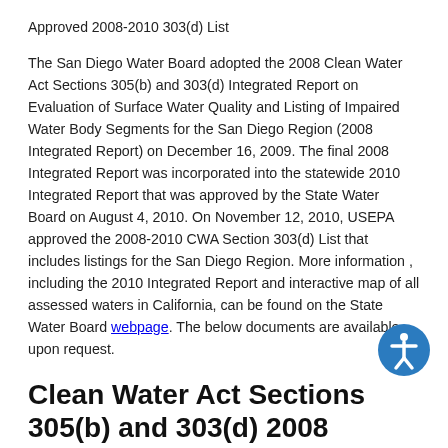Approved 2008-2010 303(d) List
The San Diego Water Board adopted the 2008 Clean Water Act Sections 305(b) and 303(d) Integrated Report on Evaluation of Surface Water Quality and Listing of Impaired Water Body Segments for the San Diego Region (2008 Integrated Report) on December 16, 2009. The final 2008 Integrated Report was incorporated into the statewide 2010 Integrated Report that was approved by the State Water Board on August 4, 2010. On November 12, 2010, USEPA approved the 2008-2010 CWA Section 303(d) List that includes listings for the San Diego Region. More information , including the 2010 Integrated Report and interactive map of all assessed waters in California, can be found on the State Water Board webpage. The below documents are available upon request.
Clean Water Act Sections 305(b) and 303(d) 2008 Integrated Report for the San Diego Region